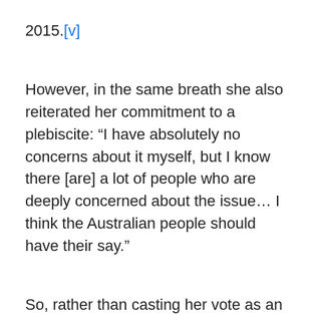2015.[v]
However, in the same breath she also reiterated her commitment to a plebiscite: “I have absolutely no concerns about it myself, but I know there [are] a lot of people who are deeply concerned about the issue… I think the Australian people should have their say.”
So, rather than casting her vote as an elected representative, one out of 226 Federal Parliamentarians who have the power to change the law in a matter of weeks, Minister Bishop would instead prefer to waste years, and $158.4 million, on a completely unnecessary public vote, leaving her own vote as just one out of the